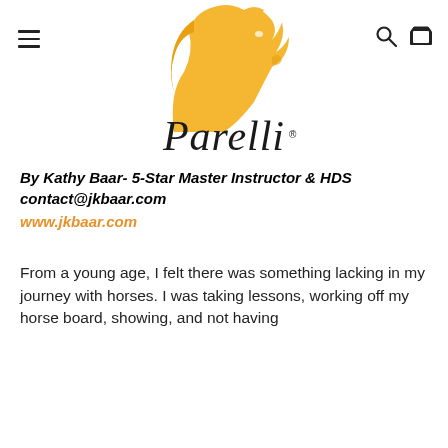[Figure (logo): Parelli logo with golden horse head silhouette above stylized 'Parelli' wordmark with registered trademark symbol]
By Kathy Baar- 5-Star Master Instructor & HDS
contact@jkbaar.com
www.jkbaar.com
From a young age, I felt there was something lacking in my journey with horses. I was taking lessons, working off my horse board, showing, and not having